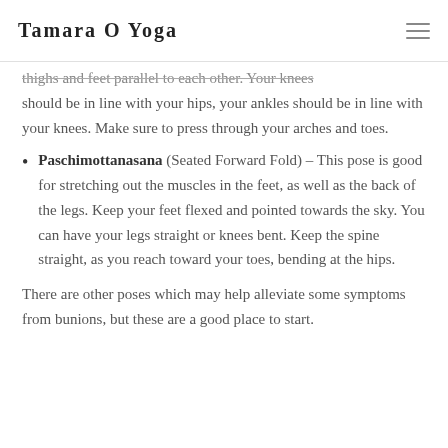Tamara O Yoga
thighs and feet parallel to each other. Your knees should be in line with your hips, your ankles should be in line with your knees. Make sure to press through your arches and toes.
Paschimottanasana (Seated Forward Fold) – This pose is good for stretching out the muscles in the feet, as well as the back of the legs. Keep your feet flexed and pointed towards the sky. You can have your legs straight or knees bent. Keep the spine straight, as you reach toward your toes, bending at the hips.
There are other poses which may help alleviate some symptoms from bunions, but these are a good place to start.